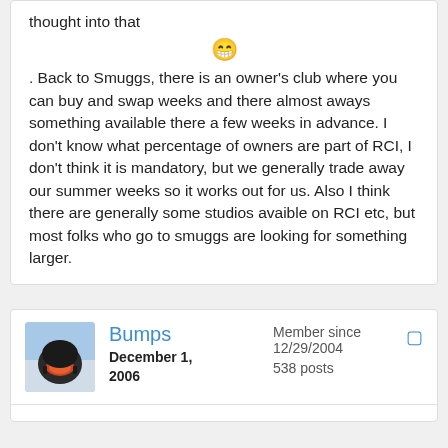thought into that
. Back to Smuggs, there is an owner's club where you can buy and swap weeks and there almost aways something available there a few weeks in advance. I don't know what percentage of owners are part of RCI, I don't think it is mandatory, but we generally trade away our summer weeks so it works out for us. Also I think there are generally some studios avaible on RCI etc, but most folks who go to smuggs are looking for something larger.
Bumps
December 1, 2006
Member since 12/29/2004
538 posts